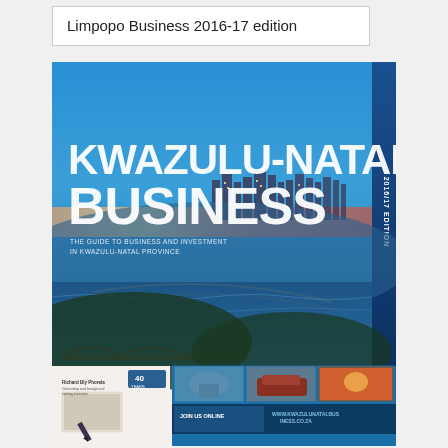Limpopo Business 2016-17 edition
[Figure (photo): Cover of KwaZulu-Natal Business 2016/17 edition magazine. Large bold white text reads 'KWAZULU-NATAL BUSINESS' over a twilight aerial photograph of Durban's beachfront and city skyline. Subtitle text reads 'THE GUIDE TO BUSINESS AND INVESTMENT IN KWAZULU-NATAL PROVINCE'. A vertical blue band on the right edge reads '2016/17 EDITION'. Below the main cover image are two thumbnail images: a left thumbnail showing a book or publication with '40 YEARS' text, and a right thumbnail showing a photo collage with text 'JOIN US ONLINE' and 'WWW.KWAZULUNATALBUS INESS.CO.ZA'.]